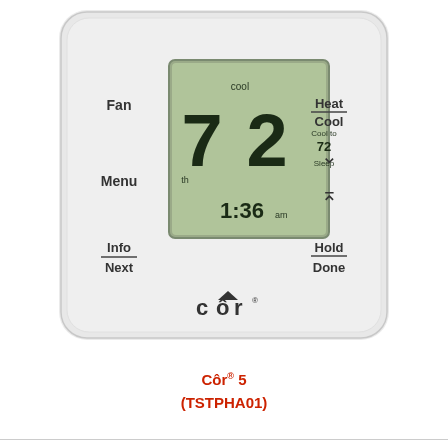[Figure (photo): Photograph of a Côr 5 thermostat (model TSTPHA01). The thermostat has a silver/light-gray rounded-square body. On the left side are three buttons labeled Fan, Menu, and Info/Next (Info over Next with a line between). On the right side are Heat/Cool button (with underline), up arrow (^), down arrow (V), and Hold/Done button (with underline). In the center is a green backlit LCD display showing the number 72 in large digits, with 'cool' at the top, 'Cool to 72' and 'Sleep' on the right side of the display, 'th' on the lower left, and '1:36 am' at the bottom. Below the display is the Côr logo (a house-roof accent over the 'o' in cor).]
Côr 5
(TSTPHA01)